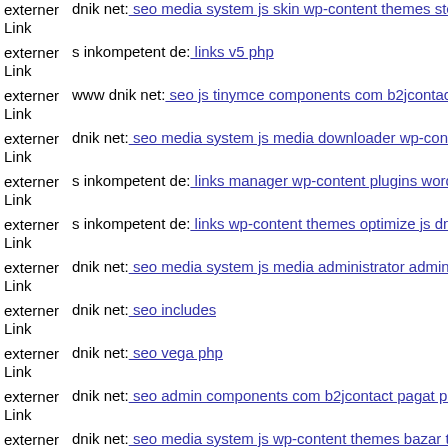externer Link  dnik net: seo media system js skin wp-content themes stendhal
externer Link  s inkompetent de: links v5 php
externer Link  www dnik net: seo js tinymce components com b2jcontact j
externer Link  dnik net: seo media system js media downloader wp-content
externer Link  s inkompetent de: links manager wp-content plugins wordfe
externer Link  s inkompetent de: links wp-content themes optimize js dnik
externer Link  dnik net: seo media system js media administrator administ
externer Link  dnik net: seo includes
externer Link  dnik net: seo vega php
externer Link  dnik net: seo admin components com b2jcontact pagat php
externer Link  dnik net: seo media system js wp-content themes bazar ther
externer Link  www dnik net: seo wp-content plugins wp-mobile-detector